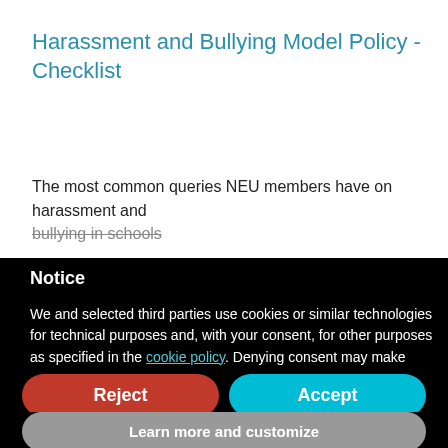Harassment and Bullying Model Policy - Checklist
The most common queries NEU members have on harassment and bullying in schools
Notice
We and selected third parties use cookies or similar technologies for technical purposes and, with your consent, for other purposes as specified in the cookie policy. Denying consent may make related features unavailable.
Use the “Accept” button to consent to the use of such technologies. Use the “Reject” button to continue without accepting.